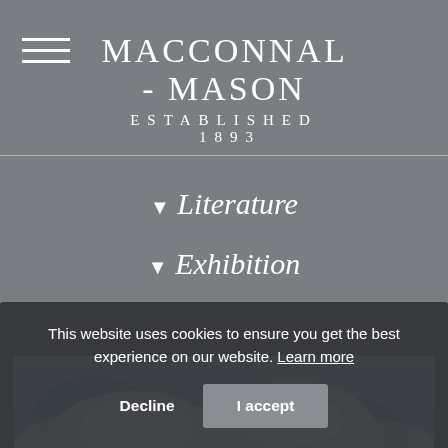MACCONNAL - MASON
ESTABLISHED 1893
▾ Literature
▾ Exhibition
[Figure (photo): Painting showing a dramatic cloudy sky with patches of blue, and a bare tree on the lower right against a dark landscape]
This website uses cookies to ensure you get the best experience on our website. Learn more
Decline  I accept